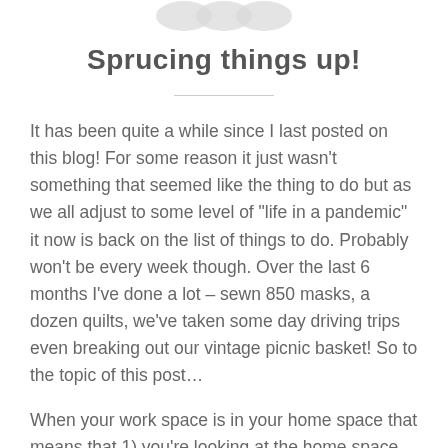[Figure (logo): Partial logo graphic at top of page, circular shapes in light gray]
Sprucing things up!
It has been quite a while since I last posted on this blog! For some reason it just wasn't something that seemed like the thing to do but as we all adjust to some level of "life in a pandemic" it now is back on the list of things to do. Probably won't be every week though. Over the last 6 months I've done a lot – sewn 850 masks, a dozen quilts, we've taken some day driving trips even breaking out our vintage picnic basket! So to the topic of this post…
When your work space is in your home space that means that 1) you're looking at the home space all